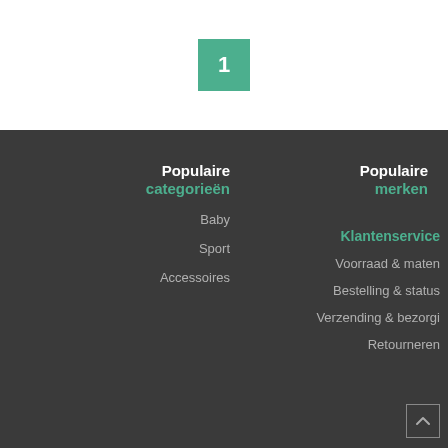1
Populaire categorieën
Baby
Sport
Accessoires
Populaire merken
Klantenservice
Voorraad & maten
Bestelling & status
Verzending & bezorgi
Retourneren